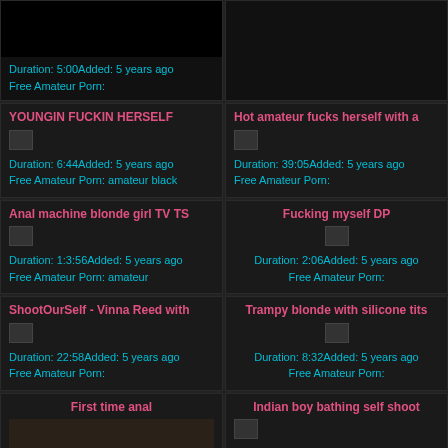[Figure (screenshot): Video thumbnail top left - dark image]
Duration: 5:00Added: 5 years ago
Free Amateur Porn:
[Figure (screenshot): Top right cell empty/dark]
YOUNGIN FUCKIN HERSELF
Duration: 6:44Added: 5 years ago
Free Amateur Porn: amateur black
Hot amateur fucks herself with a
Duration: 39:05Added: 5 years ago
Free Amateur Porn:
Anal machine blonde girl TV TS
Duration: 1:3:56Added: 5 years ago
Free Amateur Porn: amateur
Fucking myself DP
Duration: 2:06Added: 5 years ago
Free Amateur Porn:
ShootOurSelf - Vinna Reed with
Duration: 22:58Added: 5 years ago
Free Amateur Porn:
Trampy blonde with silicone tits
Duration: 8:32Added: 5 years ago
Free Amateur Porn:
First time anal
[Figure (screenshot): Video thumbnail bottom left - room scene]
Indian boy bathing self shoot
Duration: 7:00Added: 5 years ago
Free Amateur Porn: